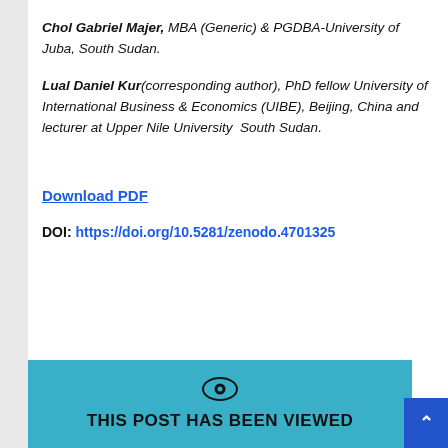Chol Gabriel Majer, MBA (Generic) & PGDBA-University of Juba, South Sudan.
Lual Daniel Kur(corresponding author), PhD fellow University of International Business & Economics (UIBE), Beijing, China and lecturer at Upper Nile University  South Sudan.
Download PDF
DOI: https://doi.org/10.5281/zenodo.4701325
[Figure (infographic): Banner with eye icon and text 'THIS POST HAS BEEN VIEWED' on a teal/blue background]